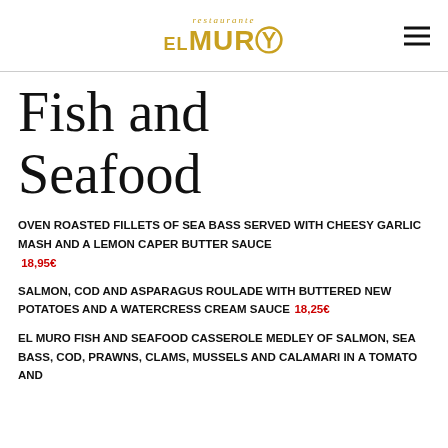restaurante El Muro
Fish and Seafood
OVEN ROASTED FILLETS OF SEA BASS SERVED WITH CHEESY GARLIC MASH AND A LEMON CAPER BUTTER SAUCE  18,95€
SALMON, COD AND ASPARAGUS ROULADE WITH BUTTERED NEW POTATOES AND A WATERCRESS CREAM SAUCE  18,25€
EL MURO FISH AND SEAFOOD CASSEROLE MEDLEY OF SALMON, SEA BASS, COD, PRAWNS, CLAMS, MUSSELS AND CALAMARI IN A TOMATO AND…